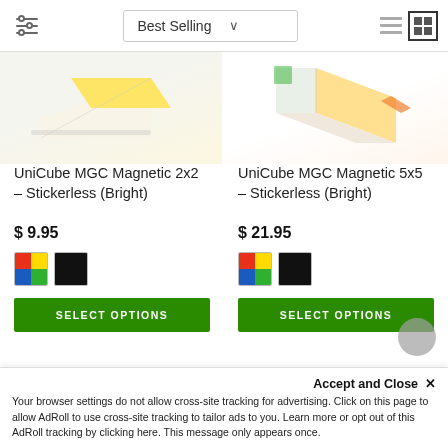Best Selling
[Figure (photo): Partial product image of UniCube MGC Magnetic 2x2 cube, showing colorful face, light background]
[Figure (photo): Partial product image of UniCube MGC Magnetic 5x5 cube, showing colorful face, light background]
UniCube MGC Magnetic 2x2 - Stickerless (Bright)
$ 9.95
UniCube MGC Magnetic 5x5 - Stickerless (Bright)
$ 21.95
SELECT OPTIONS
SELECT OPTIONS
Accept and Close ✕
Your browser settings do not allow cross-site tracking for advertising. Click on this page to allow AdRoll to use cross-site tracking to tailor ads to you. Learn more or opt out of this AdRoll tracking by clicking here. This message only appears once.